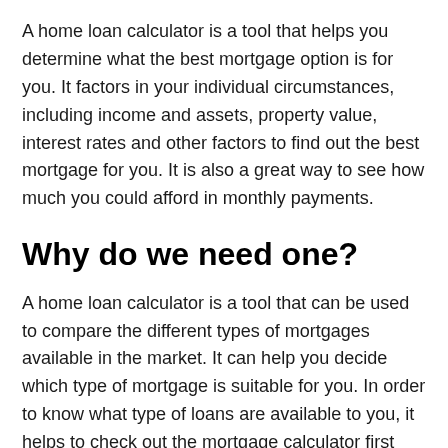A home loan calculator is a tool that helps you determine what the best mortgage option is for you. It factors in your individual circumstances, including income and assets, property value, interest rates and other factors to find out the best mortgage for you. It is also a great way to see how much you could afford in monthly payments.
Why do we need one?
A home loan calculator is a tool that can be used to compare the different types of mortgages available in the market. It can help you decide which type of mortgage is suitable for you. In order to know what type of loans are available to you, it helps to check out the mortgage calculator first before starting your search.
The whole process of getting a loan can be quite confusing, and the whole ordeal might leave you with more